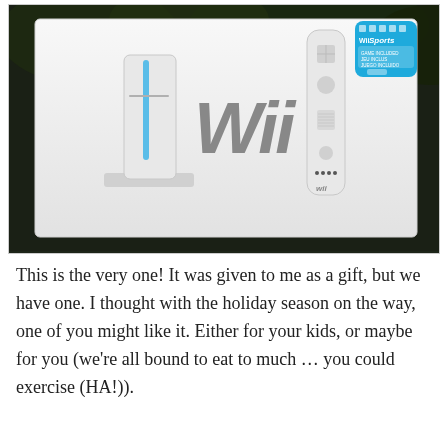[Figure (photo): A photograph of a Nintendo Wii console box showing the Wii console and Wii remote on a white box with the 'Wii' logo in gray, a Wii Sports badge in the top right corner, photographed outdoors against a dark foliage background.]
This is the very one! It was given to me as a gift, but we have one. I thought with the holiday season on the way, one of you might like it. Either for your kids, or maybe for you (we're all bound to eat to much … you could exercise (HA!)).